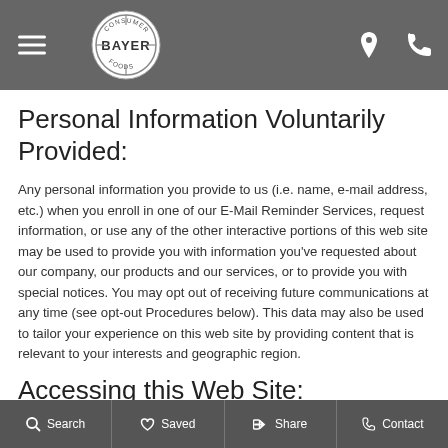Bayer navigation bar with hamburger menu, Bayer logo, location icon, and phone icon
Personal Information Voluntarily Provided:
Any personal information you provide to us (i.e. name, e-mail address, etc.) when you enroll in one of our E-Mail Reminder Services, request information, or use any of the other interactive portions of this web site may be used to provide you with information you've requested about our company, our products and our services, or to provide you with special notices. You may opt out of receiving future communications at any time (see opt-out Procedures below). This data may also be used to tailor your experience on this web site by providing content that is relevant to your interests and geographic region.
Accessing this Web Site:
This web site is hosted on servers located in the United States
Search   Saved   Share   Contact